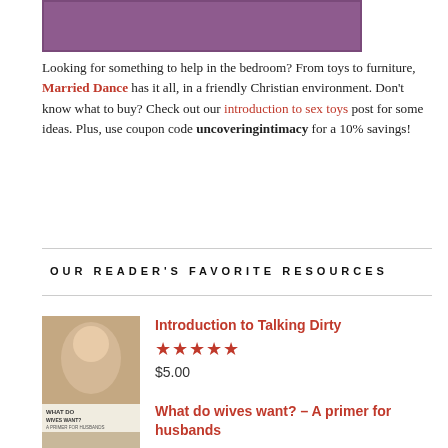[Figure (illustration): Purple/mauve colored rectangular banner image at top]
Looking for something to help in the bedroom? From toys to furniture, Married Dance has it all, in a friendly Christian environment. Don't know what to buy? Check out our introduction to sex toys post for some ideas. Plus, use coupon code uncoveringintimacy for a 10% savings!
OUR READER'S FAVORITE RESOURCES
[Figure (photo): Book cover for 'Introduction to Talking Dirty' showing a couple]
Introduction to Talking Dirty
★★★★★
$5.00
[Figure (photo): Book cover for 'What Do Wives Want? A Primer for Husbands']
What do wives want? – A primer for husbands